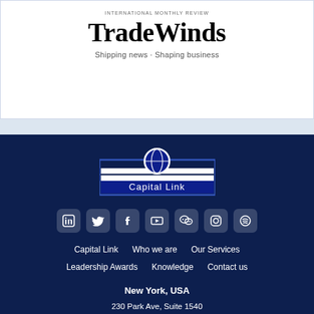[Figure (logo): TradeWinds logo with tagline 'Shipping news · Shaping business']
[Figure (logo): Capital Link logo with globe icon]
[Figure (infographic): Social media icons: LinkedIn, Twitter, Facebook, YouTube, WeChat, Instagram, Spotify]
Capital Link   Who we are   Our Services
Leadership Awards   Knowledge   Contact us
New York, USA
230 Park Ave, Suite 1540
New York, NY
+1 212 661 7566
+1 212 661 7526